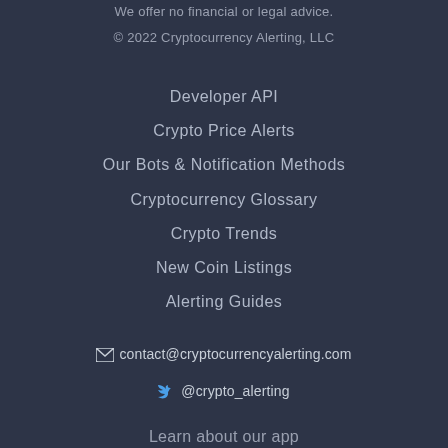We offer no financial or legal advice.
© 2022 Cryptocurrency Alerting, LLC
Developer API
Crypto Price Alerts
Our Bots & Notification Methods
Cryptocurrency Glossary
Crypto Trends
New Coin Listings
Alerting Guides
✉ contact@cryptocurrencyalerting.com
🐦 @crypto_alerting
Learn about our app